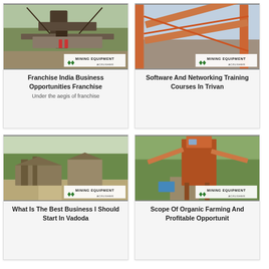[Figure (photo): Mining equipment / crusher machinery photo with MINING EQUIPMENT ACRUSHER watermark logo]
Franchise India Business Opportunities Franchise
Under the aegis of franchise
[Figure (photo): Industrial conveyor belt / mining equipment photo with MINING EQUIPMENT ACRUSHER watermark logo]
Software And Networking Training Courses In Trivan
[Figure (photo): Quarry / mining site with machinery photo with MINING EQUIPMENT ACRUSHER watermark logo]
What Is The Best Business I Should Start In Vadoda
[Figure (photo): Orange/rust-colored industrial mining structure photo with MINING EQUIPMENT ACRUSHER watermark logo]
Scope Of Organic Farming And Profitable Opportunit